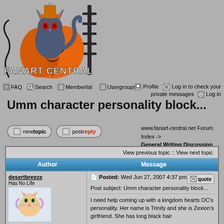[Figure (illustration): Fanart Central logo with a cartoon cat in a jack-o-lantern pumpkin wearing a hat, with decorative text reading FANART CENTRAL]
FAQ  Search  Memberlist  Usergroups  Profile  Log in to check your private messages  Log in
Umm character personality block...
www.fanart-central.net Forum Index -> General Writing Discussion
| Author | Message |
| --- | --- |
| desertbreeze
Has No Life
[avatar]
Joined: 05 Feb 2007 | Posted: Wed Jun 27, 2007 4:37 pm
Post subject: Umm character personality block...
I need help coming up with a kingdom hearts OC's personality. Her name is Trinity and she is Zexion's girlfriend. She has long black hair |